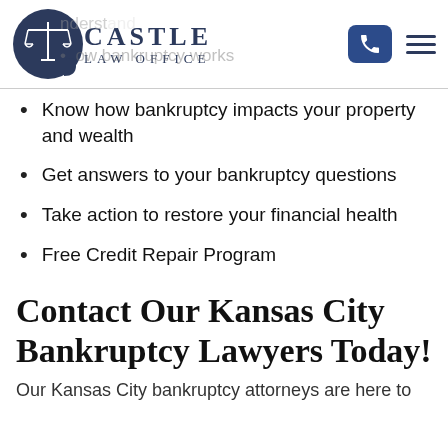[Figure (logo): Castle Law Office logo with scales of justice icon and text]
Know how bankruptcy impacts your property and wealth
Get answers to your bankruptcy questions
Take action to restore your financial health
Free Credit Repair Program
Contact Our Kansas City Bankruptcy Lawyers Today!
Our Kansas City bankruptcy attorneys are here to